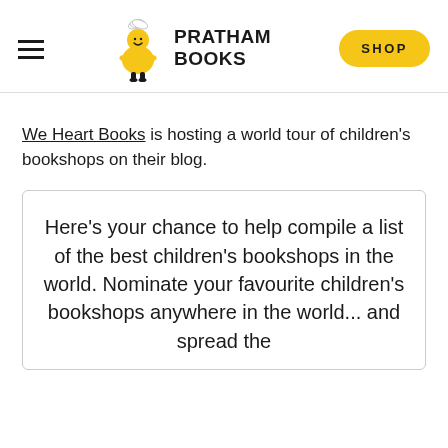PRATHAM BOOKS | SHOP
We Heart Books is hosting a world tour of children's bookshops on their blog.
Here's your chance to help compile a list of the best children's bookshops in the world. Nominate your favourite children's bookshops anywhere in the world... and spread the